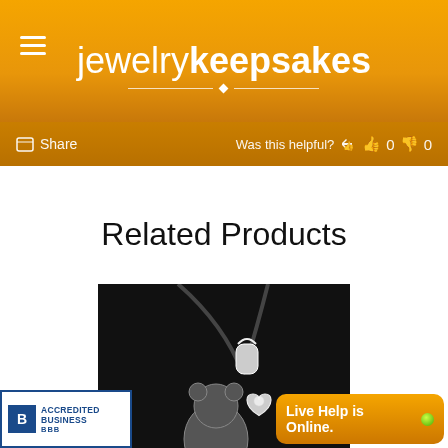jewelry keepsakes
Share   Was this helpful? 0 0
Related Products
[Figure (photo): Silver jewelry pendant with heart charm on dark background with jewelrykeepsakes.com watermark]
[Figure (logo): BBB Accredited Business badge]
Live Help is Online.